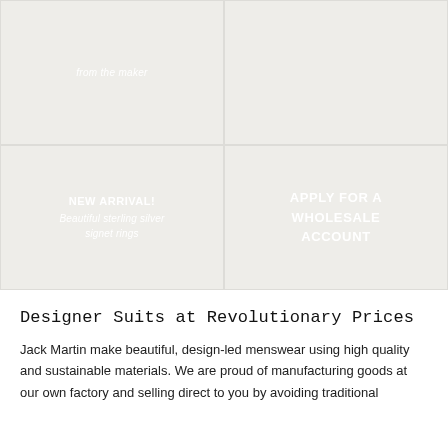[Figure (other): Top row left grid cell with italic text 'from the maker']
[Figure (other): Top row right grid cell, empty/minimal]
[Figure (other): Bottom row left grid cell with text 'NEW ARRIVAL! Beautiful sterling silver signet rings']
[Figure (other): Bottom row right grid cell with text 'APPLY FOR A WHOLESALE ACCOUNT']
Designer Suits at Revolutionary Prices
Jack Martin make beautiful, design-led menswear using high quality and sustainable materials. We are proud of manufacturing goods at our own factory and selling direct to you by avoiding traditional